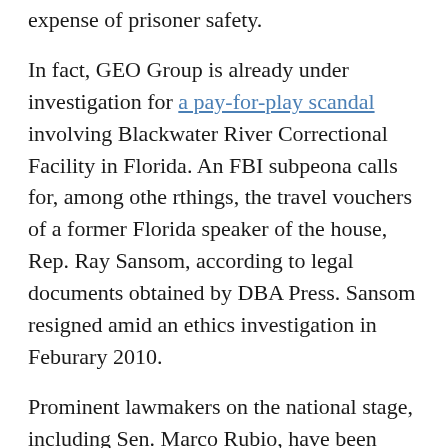expense of prisoner safety.
In fact, GEO Group is already under investigation for a pay-for-play scandal involving Blackwater River Correctional Facility in Florida. An FBI subpeona calls for, among othe rthings, the travel vouchers of a former Florida speaker of the house, Rep. Ray Sansom, according to legal documents obtained by DBA Press. Sansom resigned amid an ethics investigation in Feburary 2010.
Prominent lawmakers on the national stage, including Sen. Marco Rubio, have been tarred with the same brush - Sansom was Rubio's budget chief when he allegedly inserted language creating Blackwater into a Florida budget bill.